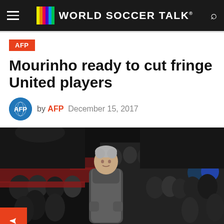World Soccer Talk
AFP
Mourinho ready to cut fringe United players
by AFP  December 15, 2017
[Figure (photo): Jose Mourinho standing on the touchline at a night match, crowd of spectators visible behind him in stadium seating with red barriers]